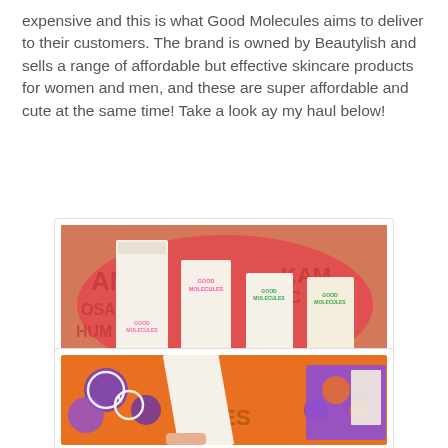expensive and this is what Good Molecules aims to deliver to their customers. The brand is owned by Beautylish and sells a range of affordable but effective skincare products for women and men, and these are super affordable and cute at the same time! Take a look ay my haul below!
[Figure (photo): Several Good Molecules skincare product boxes standing upright inside a pink branded box/bag on a wooden surface]
[Figure (photo): Closeup of colorful Good Molecules branded packaging with orange and purple patterns and a white product box]